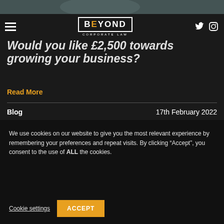[Figure (photo): Top banner image, dark grey/teal toned photo]
[Figure (logo): BEYOND CORPORATE LAW logo with hamburger menu and social icons (Twitter, Instagram)]
Would you like £2,500 towards growing your business?
Read More
Blog                                    17th February 2022
[Figure (photo): Article photo showing office/business interior]
We use cookies on our website to give you the most relevant experience by remembering your preferences and repeat visits. By clicking “Accept”, you consent to the use of ALL the cookies.
Cookie settings   ACCEPT